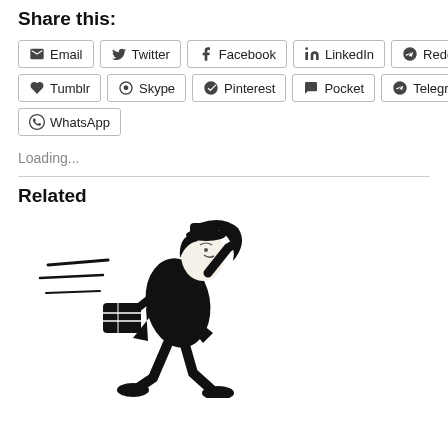Share this:
Email Twitter Facebook LinkedIn Reddit Tumblr Skype Pinterest Pocket Telegram WhatsApp
Loading...
Related
[Figure (illustration): Black and white vintage illustration of a woman running or rushing quickly, holding papers or a bag, wearing a hat, with motion lines indicating speed.]